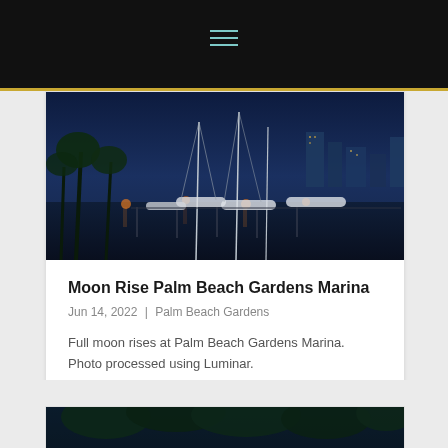[Figure (photo): Night-time aerial view of Palm Beach Gardens Marina with sailboats docked, palm trees, city buildings lit up in the background, deep blue dusk sky]
Moon Rise Palm Beach Gardens Marina
Jun 14, 2022 | Palm Beach Gardens
Full moon rises at Palm Beach Gardens Marina. Photo processed using Luminar.
[Figure (photo): Partial view of trees with dark green foliage against a deep blue night sky, bottom of next card]